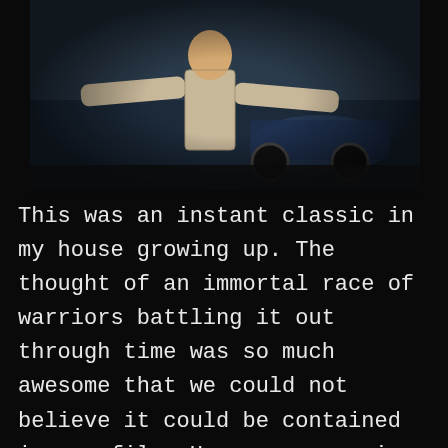[Figure (photo): A person in a light-colored jacket/trenchcoat with arms outstretched, standing in front of a dark background with a car visible, movie scene still.]
This was an instant classic in my house growing up. The thought of an immortal race of warriors battling it out through time was so much awesome that we could not believe it could be contained in one film. Here was a movie that not only had a cool scifi tone but also embraced history using the Scottish Highlands as a backdrop for the main character. That combined with Sean Connery in one of his most classic roles, how could you not love it?